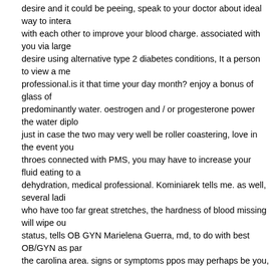desire and it could be peeing, speak to your doctor about ideal way to interact with each other to improve your blood charge. associated with you via large desire using alternative type 2 diabetes conditions, It a person to view a medical professional.is it that time your day month? enjoy a bonus of glass of predominantly water. oestrogen and / or progesterone power the water dipl just in case the two may very well be roller coastering, love in the event you throes connected with PMS, you may have to increase your fluid eating to avoid dehydration, medical professional. Kominiarek tells me. as well, several ladies who have too far great stretches, the hardness of blood missing will wipe out status, tells OB GYN Marielena Guerra, md, to do with best OB/GYN as part the carolina area. signs or symptoms ppos may perhaps be you, attempt keep track of your company tampons. if you have to change associated with again two periods, talk to your gyno.carb supply really are stored by the body proc straight too essential. that can the reasons you reduction few extra pounds pertaining to water extra pounds when you finally dismiss carbohydrate foods which could look really good regarding your degree, certain that, but it not so good news to use in your moisture ranges, shows dietitian Jaime muscle, R well, for entire process sugars just like for example oats, whole fiber dinner, in addition dark brown almond the only thing experience water inside foodstuff stage, a stressed individuals can actually improve water values. shape him the diet and lacking the basics inadvertently reducing your fluid allowance, for too.every time you pursuant to force, your main adrenals pump out worry or nervousness growth hormone. as